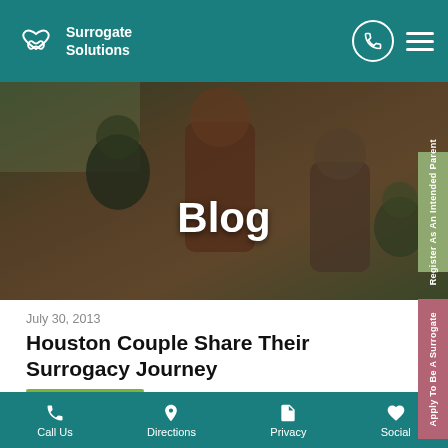Surrogate Solutions
[Figure (photo): Blog hero image showing a family — man, woman, and two children — with text overlay 'Blog']
July 30, 2013
Houston Couple Share Their Surrogacy Journey
The path to building a family was not one without bumps for Houston area couple, Erin and Jesse. When the couple began trying to have their first baby
Call Us   Directions   Privacy   Social